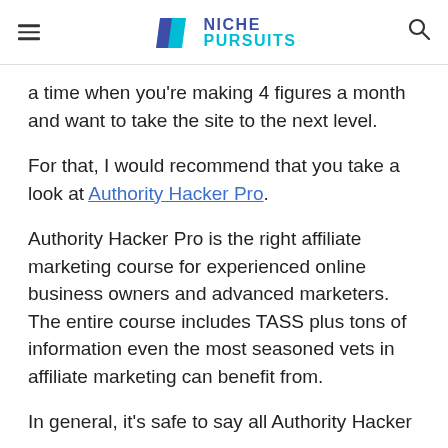Niche Pursuits
a time when you're making 4 figures a month and want to take the site to the next level.
For that, I would recommend that you take a look at Authority Hacker Pro.
Authority Hacker Pro is the right affiliate marketing course for experienced online business owners and advanced marketers. The entire course includes TASS plus tons of information even the most seasoned vets in affiliate marketing can benefit from.
In general, it's safe to say all Authority Hacker